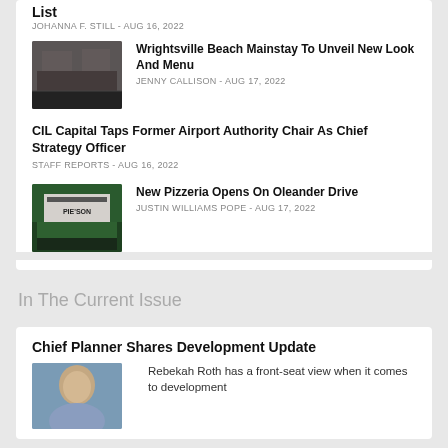List
JOHANNA F. STILL - AUG 16, 2022
Wrightsville Beach Mainstay To Unveil New Look And Menu
JENNY CALLISON - AUG 17, 2022
CIL Capital Taps Former Airport Authority Chair As Chief Strategy Officer
STAFF REPORTS - AUG 16, 2022
New Pizzeria Opens On Oleander Drive
JUSTIN WILLIAMS POPE - AUG 17, 2022
In The Current Issue
Chief Planner Shares Development Update
Rebekah Roth has a front-seat view when it comes to development